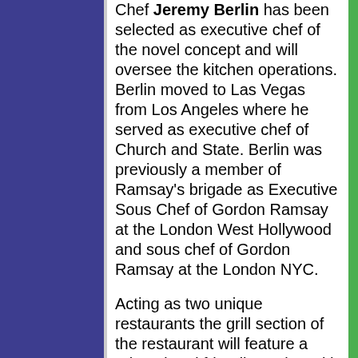Chef Jeremy Berlin has been selected as executive chef of the novel concept and will oversee the kitchen operations. Berlin moved to Las Vegas from Los Angeles where he served as executive chef of Church and State. Berlin was previously a member of Ramsay's brigade as Executive Sous Chef of Gordon Ramsay at the London West Hollywood and sous chef of Gordon Ramsay at the London NYC.

Acting as two unique restaurants the grill section of the restaurant will feature a relaxed and friendly setting with dishes including New Zealand Red Snapper, lamb T-bone, whole brick pressed Cornish chicken, dry aged 30 oz. bone-in beef rib eye and spotted dog. The pub will feature elevated British pub food in a comfortable and lively